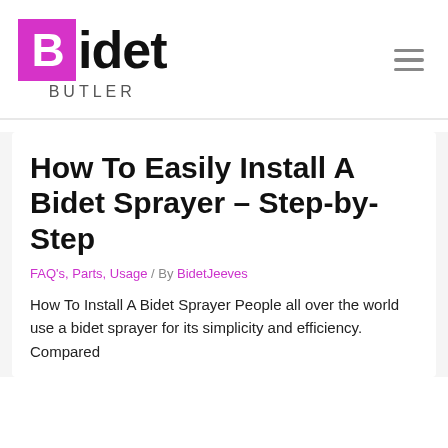Bidet Butler
How To Easily Install A Bidet Sprayer – Step-by-Step
FAQ's, Parts, Usage / By BidetJeeves
How To Install A Bidet Sprayer People all over the world use a bidet sprayer for its simplicity and efficiency. Compared